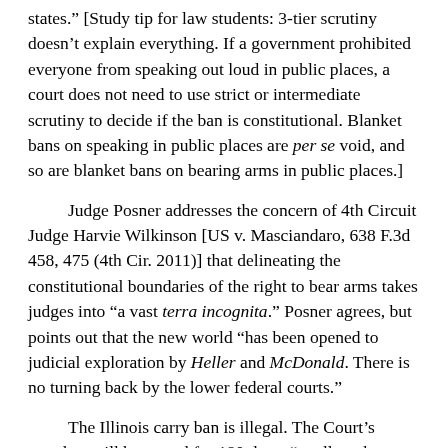states.” [Study tip for law students: 3-tier scrutiny doesn’t explain everything. If a government prohibited everyone from speaking out loud in public places, a court does not need to use strict or intermediate scrutiny to decide if the ban is constitutional. Blanket bans on speaking in public places are per se void, and so are blanket bans on bearing arms in public places.]
Judge Posner addresses the concern of 4th Circuit Judge Harvie Wilkinson [US v. Masciandaro, 638 F.3d 458, 475 (4th Cir. 2011)] that delineating the constitutional boundaries of the right to bear arms takes judges into “a vast terra incognita.” Posner agrees, but points out that the new world “has been opened to judicial exploration by Heller and McDonald. There is no turning back by the lower federal courts.”
The Illinois carry ban is illegal. The Court’s mandate will be stayed for 180 days, “to allow the Illinois legislature to craft a new gun law that will impose reasonable limitations, consistent with the public safety and the Second Amendment as